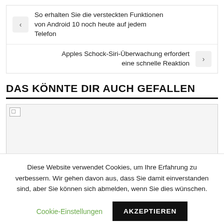So erhalten Sie die versteckten Funktionen von Android 10 noch heute auf jedem Telefon
Apples Schock-Siri-Überwachung erfordert eine schnelle Reaktion
DAS KÖNNTE DIR AUCH GEFALLEN
[Figure (photo): Image placeholder (broken image icon) for a recommended article]
Diese Website verwendet Cookies, um Ihre Erfahrung zu verbessern. Wir gehen davon aus, dass Sie damit einverstanden sind, aber Sie können sich abmelden, wenn Sie dies wünschen.
Cookie-Einstellungen   AKZEPTIEREN